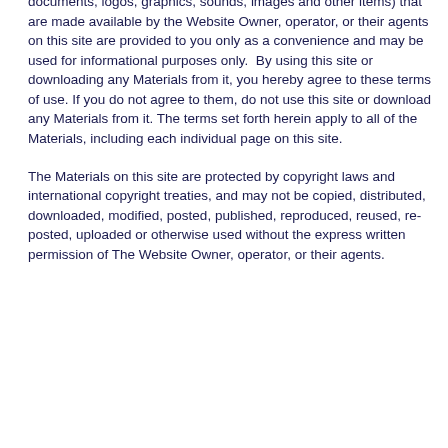documents, logos, graphics, sounds, images and other items) that are made available by the Website Owner, operator, or their agents on this site are provided to you only as a convenience and may be used for informational purposes only.  By using this site or downloading any Materials from it, you hereby agree to these terms of use. If you do not agree to them, do not use this site or download any Materials from it. The terms set forth herein apply to all of the Materials, including each individual page on this site.
The Materials on this site are protected by copyright laws and international copyright treaties, and may not be copied, distributed, downloaded, modified, posted, published, reproduced, reused, re-posted, uploaded or otherwise used without the express written permission of The Website Owner, operator, or their agents.